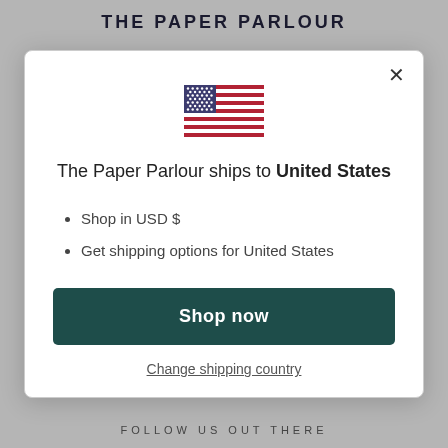THE PAPER PARLOUR
[Figure (illustration): US flag emoji/icon centered in modal]
The Paper Parlour ships to United States
Shop in USD $
Get shipping options for United States
Shop now
Change shipping country
FOLLOW US OUT THERE